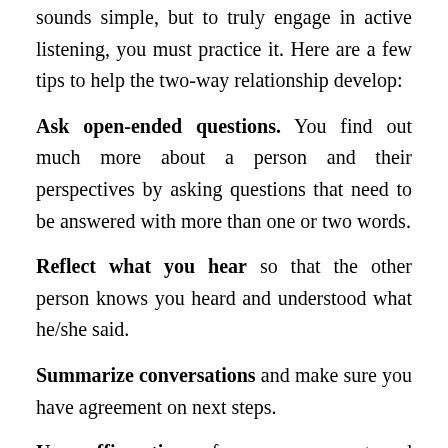Sounds simple, but to truly engage in active listening, you must practice it. Here are a few tips to help the two-way relationship develop:
Ask open-ended questions. You find out much more about a person and their perspectives by asking questions that need to be answered with more than one or two words.
Reflect what you hear so that the other person knows you heard and understood what he/she said.
Summarize conversations and make sure you have agreement on next steps.
Use affirmations for encouragement and support.